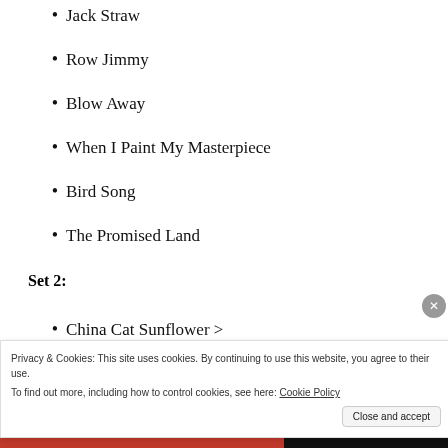Jack Straw
Row Jimmy
Blow Away
When I Paint My Masterpiece
Bird Song
The Promised Land
Set 2:
China Cat Sunflower >
I Know You Rider
Looks Like Rain
Privacy & Cookies: This site uses cookies. By continuing to use this website, you agree to their use.
To find out more, including how to control cookies, see here: Cookie Policy
Close and accept